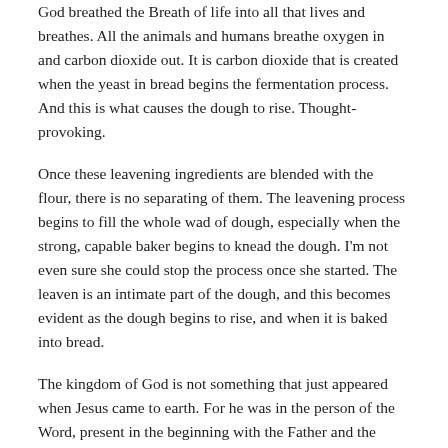God breathed the Breath of life into all that lives and breathes. All the animals and humans breathe oxygen in and carbon dioxide out. It is carbon dioxide that is created when the yeast in bread begins the fermentation process. And this is what causes the dough to rise. Thought-provoking.
Once these leavening ingredients are blended with the flour, there is no separating of them. The leavening process begins to fill the whole wad of dough, especially when the strong, capable baker begins to knead the dough. I'm not even sure she could stop the process once she started. The leaven is an intimate part of the dough, and this becomes evident as the dough begins to rise, and when it is baked into bread.
The kingdom of God is not something that just appeared when Jesus came to earth. For he was in the person of the Word, present in the beginning with the Father and the Spirit when all was made. The purposes and plans of God have not been derailed, but are gradually being kneaded into the dough. In time the heat of the fire will reveal an awesome loaf of bread.
In the meantime though, we find that the dough isn't always compliant and responsive to the baker. As she pushes the dough